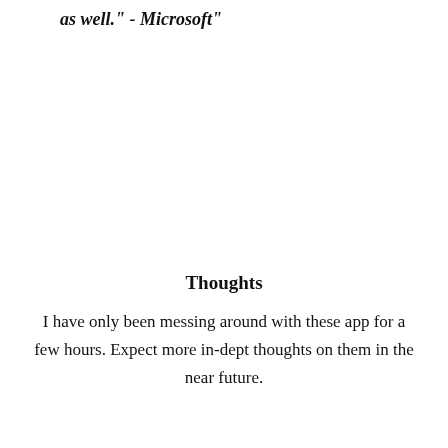as well." - Microsoft"
Thoughts
I have only been messing around with these app for a few hours. Expect more in-dept thoughts on them in the near future.